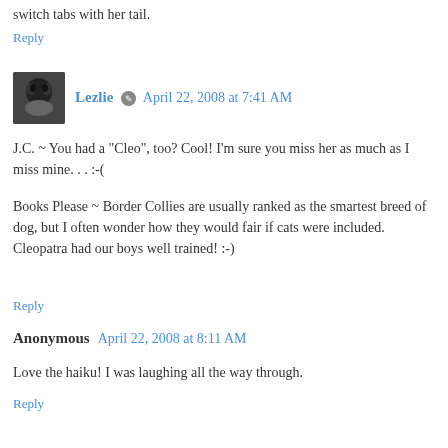switch tabs with her tail.
Reply
Lezlie · April 22, 2008 at 7:41 AM
J.C. ~ You had a "Cleo", too? Cool! I'm sure you miss her as much as I miss mine. . . :-(
Books Please ~ Border Collies are usually ranked as the smartest breed of dog, but I often wonder how they would fair if cats were included. Cleopatra had our boys well trained! :-)
Reply
Anonymous April 22, 2008 at 8:11 AM
Love the haiku! I was laughing all the way through.
Reply